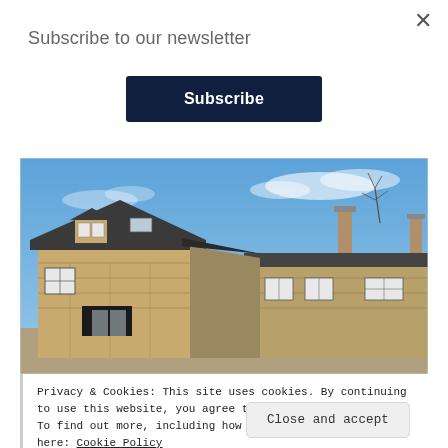Subscribe to our newsletter
Subscribe
[Figure (photo): Exterior photo of a stone cottage with slate roof and dormer windows under a blue sky with light cloud.]
Privacy & Cookies: This site uses cookies. By continuing to use this website, you agree to their use.
To find out more, including how to control cookies, see here: Cookie Policy
Close and accept